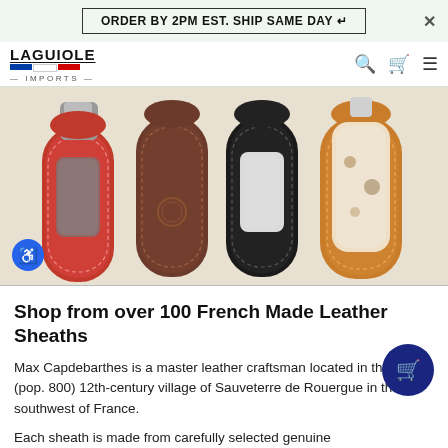ORDER BY 2PM EST. SHIP SAME DAY ↵
[Figure (logo): Laguiole Imports logo with French flag tricolor and brand name]
[Figure (photo): Four French made leather knife sheaths displayed on a white background: red, brown, black, and tan/cognac colors, each containing a folding knife or decorative knife]
Shop from over 100 French Made Leather Sheaths
Max Capdebarthes is a master leather craftsman located in the tiny (pop. 800) 12th-century village of Sauveterre de Rouergue in the southwest of France.
Each sheath is made from carefully selected genuine